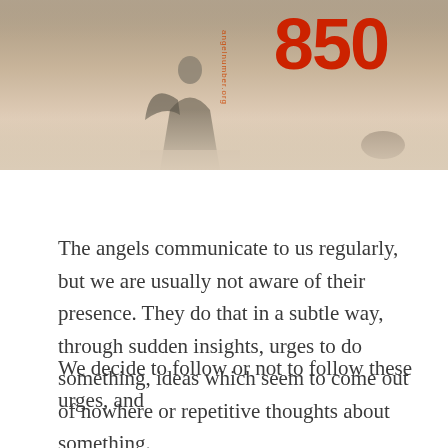[Figure (photo): Sepia-toned photo with misty/foggy landscape background, a figure standing in the center, mountains or rocks in the distance, and large red text '850' in the upper right. A red vertical watermark reads 'angelnumber.org'.]
The angels communicate to us regularly, but we are usually not aware of their presence. They do that in a subtle way, through sudden insights, urges to do something, ideas which seem to come out of nowhere or repetitive thoughts about something.
We decide to follow or not to follow these urges, and